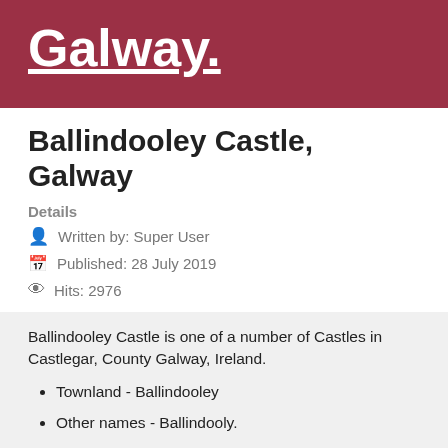Galway.
Ballindooley Castle, Galway
Details
Written by: Super User
Published: 28 July 2019
Hits: 2976
Ballindooley Castle is one of a number of Castles in Castlegar, County Galway, Ireland.
Townland - Ballindooley
Other names - Ballindooly.
Look inside Ballindooley Castle on Youtube and outside.
It is believed to be a De Burgo House and is built on the right hand side of the Galway to Headford